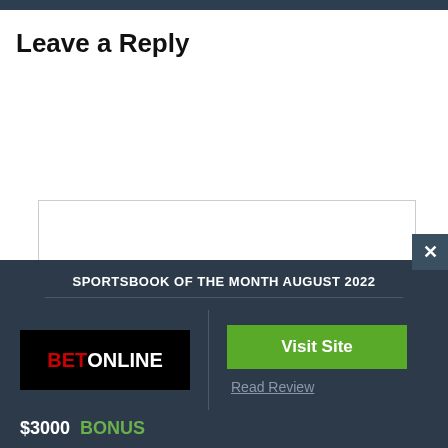Leave a Reply
[Figure (screenshot): Comment text input box (empty)]
[Figure (infographic): Sportsbook of the Month August 2022 promotional banner featuring BetOnline logo, Visit Site button, $3000 BONUS offer, and Read Review link]